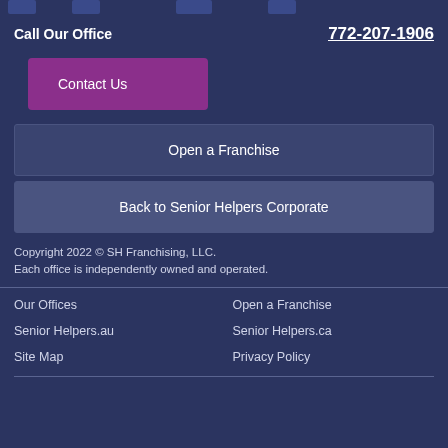[icon strip at top]
Call Our Office   772-207-1906
Contact Us
Open a Franchise
Back to Senior Helpers Corporate
Copyright 2022 © SH Franchising, LLC.
Each office is independently owned and operated.
Our Offices
Open a Franchise
Senior Helpers.au
Senior Helpers.ca
Site Map
Privacy Policy